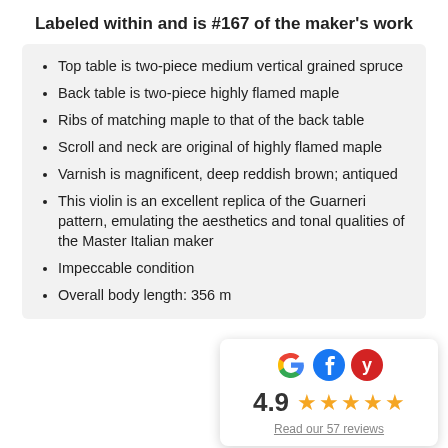Labeled within and is #167 of the maker's work
Top table is two-piece medium vertical grained spruce
Back table is two-piece highly flamed maple
Ribs of matching maple to that of the back table
Scroll and neck are original of highly flamed maple
Varnish is magnificent, deep reddish brown; antiqued
This violin is an excellent replica of the Guarneri pattern, emulating the aesthetics and tonal qualities of the Master Italian maker
Impeccable condition
Overall body length: 356 m
[Figure (infographic): Review widget showing Google, Facebook, Yelp logos, rating 4.9 with 5 gold stars, and link 'Read our 57 reviews']